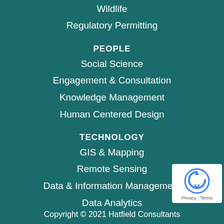Wildlife
Regulatory Permitting
PEOPLE
Social Science
Engagement & Consultation
Knowledge Management
Human Centered Design
TECHNOLOGY
GIS & Mapping
Remote Sensing
Data & Information Management
Data Analytics
Copyright © 2021 Hatfield Consultants